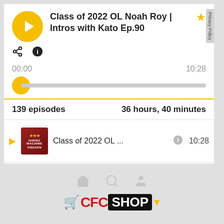Class of 2022 OL Noah Roy | Intros with Kato Ep.90
00:00
10:28
139 episodes
36 hours, 40 minutes
Class of 2022 OL ... 10:28
Class of 2024 OL ... 01:11
Class of 2022 QB ... 00:0?
[Figure (logo): CFC SHOP logo with shopping cart icon and maple leaf]